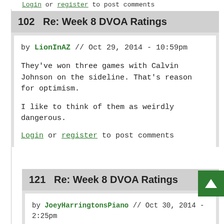Login or register to post comments
102   Re: Week 8 DVOA Ratings
by LionInAZ // Oct 29, 2014 - 10:59pm
They've won three games with Calvin Johnson on the sideline. That's reason for optimism.
I like to think of them as weirdly dangerous.
Login or register to post comments
121   Re: Week 8 DVOA Ratings
by JoeyHarringtonsPiano // Oct 30, 2014 - 2:25pm